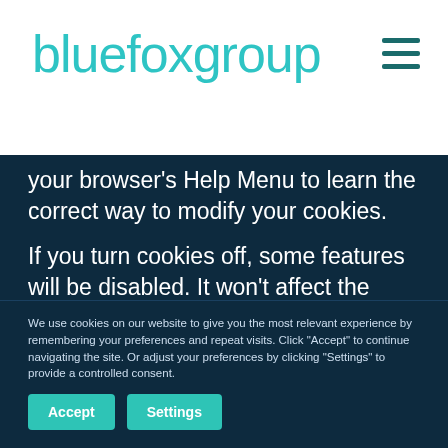[Figure (logo): bluefoxgroup logo in teal/cyan color with hamburger menu icon]
your browser's Help Menu to learn the correct way to modify your cookies.
If you turn cookies off, some features will be disabled. It won't affect the user's experience that makes your site experience more efficient and may not function
We use cookies on our website to give you the most relevant experience by remembering your preferences and repeat visits. Click "Accept" to continue navigating the site. Or adjust your preferences by clicking "Settings" to provide a controlled consent.
Accept
Settings